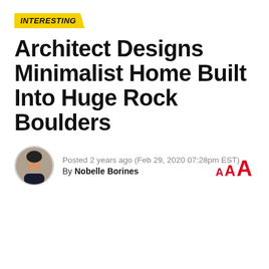INTERESTING
Architect Designs Minimalist Home Built Into Huge Rock Boulders
Posted 2 years ago (Feb 29, 2020 07:28pm EST)
By Nobelle Borines
[Figure (photo): Circular avatar photo of author Nobelle Borines]
A A A (font size controls)